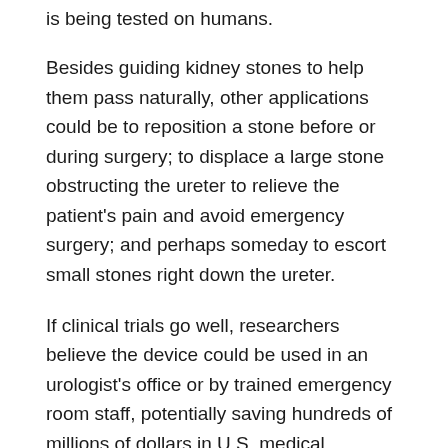is being tested on humans.
Besides guiding kidney stones to help them pass naturally, other applications could be to reposition a stone before or during surgery; to displace a large stone obstructing the ureter to relieve the patient's pain and avoid emergency surgery; and perhaps someday to escort small stones right down the ureter.
If clinical trials go well, researchers believe the device could be used in an urologist's office or by trained emergency room staff, potentially saving hundreds of millions of dollars in U.S. medical expenses.
The team is working with the UW Center for Commercialization. On the UW team are...